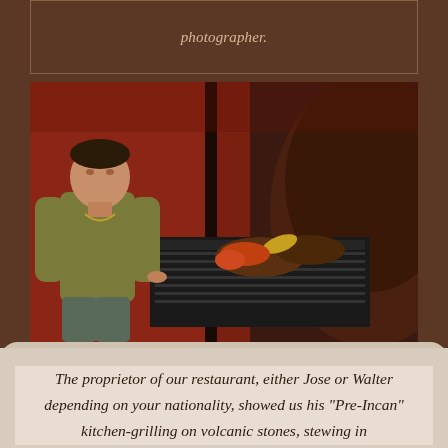photographer.
[Figure (photo): A man standing beside a large grill/smoker cooker with food on it, in a restaurant kitchen with red walls. The man is wearing an olive/tan sweater. On the grill are what appear to be meats and vegetables including corn.]
The proprietor of our restaurant, either Jose or Walter depending on your nationality, showed us his "Pre-Incan" kitchen-grilling on volcanic stones, stewing in